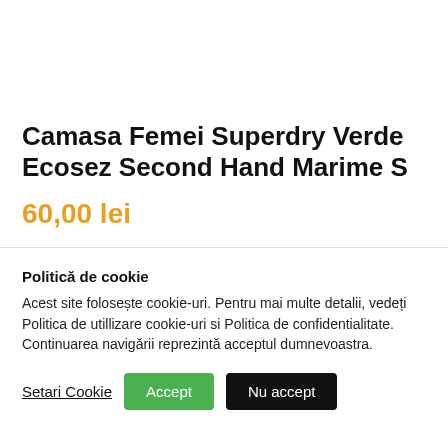Camasa Femei Superdry Verde Ecosez Second Hand Marime S
60,00 lei
Politică de cookie
Acest site folosește cookie-uri. Pentru mai multe detalii, vedeți Politica de utillizare cookie-uri si Politica de confidentialitate. Continuarea navigării reprezintă acceptul dumnevoastra.
Setari Cookie | Accept | Nu accept